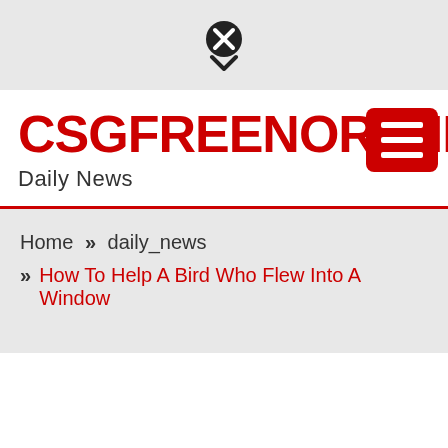[Figure (other): Close/dismiss icon (X in circle with downward chevron) in top gray bar]
CSGFREENORTHERNR
Daily News
[Figure (other): Hamburger menu icon (three white lines on red rounded rectangle background) in top right of header]
Home » daily_news
» How To Help A Bird Who Flew Into A Window
[Figure (other): Close/dismiss icon (X in circle) at bottom of page]